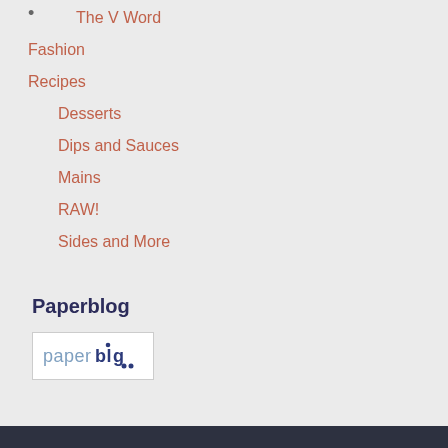The V Word
Fashion
Recipes
Desserts
Dips and Sauces
Mains
RAW!
Sides and More
Paperblog
[Figure (logo): Paperblog logo — blue and grey text reading 'paperblog' with stylized dots on the letters]